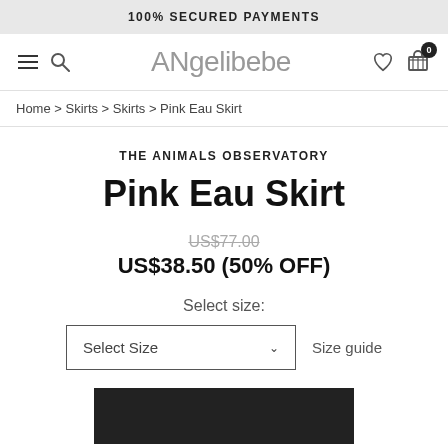100% SECURED PAYMENTS
[Figure (screenshot): Navigation bar with hamburger menu, search icon, Angelibebe logo, heart icon, and shopping cart icon with badge showing 0]
Home > Skirts > Skirts > Pink Eau Skirt
THE ANIMALS OBSERVATORY
Pink Eau Skirt
US$77.00 (strikethrough)
US$38.50 (50% OFF)
Select size:
Select Size    Size guide